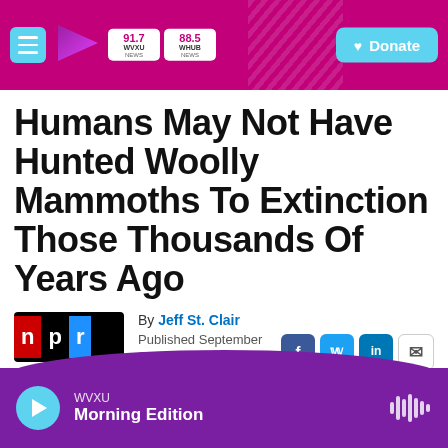WVXU 91.7 NEWS | WHUB 88.5 NEWS | Donate
Humans May Not Have Hunted Woolly Mammoths To Extinction Those Thousands Of Years Ago
By Jeff St. Clair
Published September 21, 2021 at 4:26 PM EDT
WVXU Morning Edition